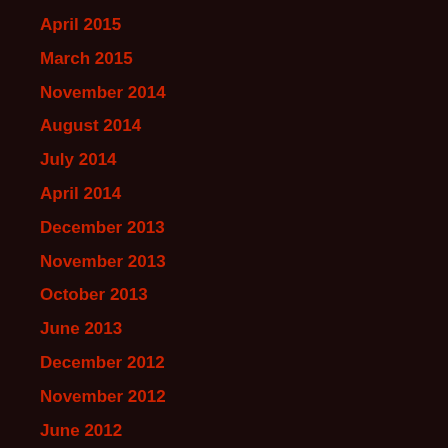April 2015
March 2015
November 2014
August 2014
July 2014
April 2014
December 2013
November 2013
October 2013
June 2013
December 2012
November 2012
June 2012
May 2012
November 2011